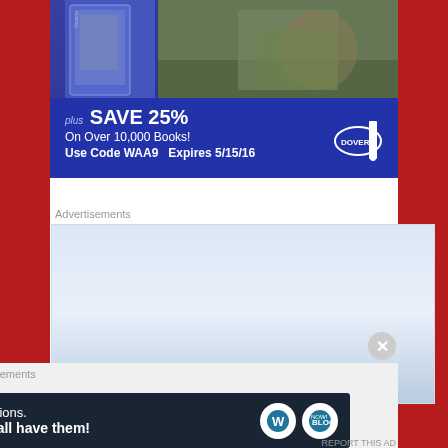[Figure (photo): Dover Publications advertisement showing a blue background with book covers and nature imagery, text reading 'plus SAVE 25% On Over 10,000 Books! Use Code WAA9 Expires 5/15/16' with Dover logo]
Advertisements
[Figure (photo): Light blue/white gradient advertisement placeholder box]
Advertisements
[Figure (photo): WordPress advertisement: 'Opinions. We all have them!' with WordPress and blog logos on dark navy background]